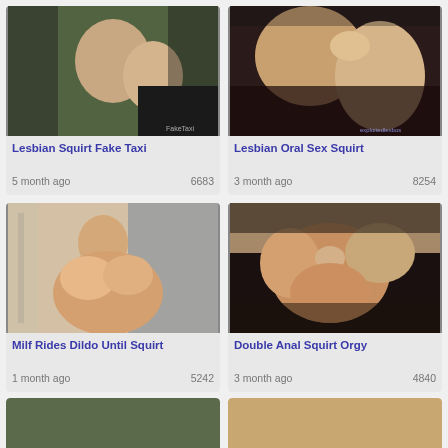[Figure (photo): Video thumbnail showing two women in a taxi]
Lesbian Squirt Fake Taxi
5 month ago   6683
[Figure (photo): Video thumbnail showing a close-up of two women]
Lesbian Oral Sex Squirt
3 month ago   8254
[Figure (photo): Video thumbnail showing a woman alone in a room]
Milf Rides Dildo Until Squirt
1 month ago   5242
[Figure (photo): Video thumbnail showing multiple people]
Double Anal Squirt Orgy
3 month ago   4840
[Figure (photo): Video thumbnail - partial view at bottom left]
[Figure (photo): Video thumbnail - partial view at bottom right]